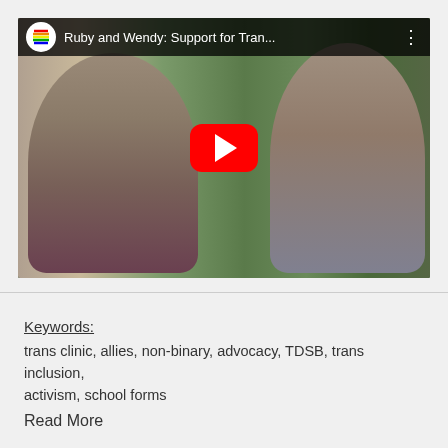[Figure (screenshot): YouTube video thumbnail showing two people seated in an interview setting with plants in the background. Video title reads 'Ruby and Wendy: Support for Tran...' with a YouTube play button overlay and channel logo.]
Keywords: trans clinic, allies, non-binary, advocacy, TDSB, trans inclusion, activism, school forms
Read More